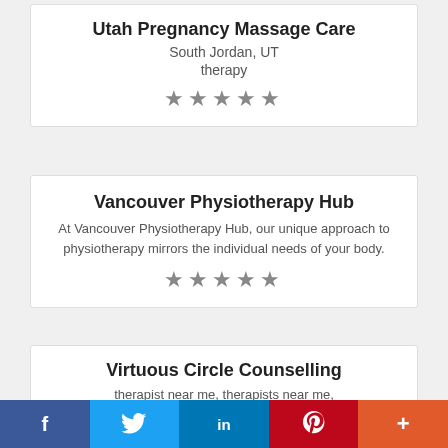Utah Pregnancy Massage Care
South Jordan, UT
therapy
[Figure (other): 5 grey star rating icons]
Vancouver Physiotherapy Hub
At Vancouver Physiotherapy Hub, our unique approach to physiotherapy mirrors the individual needs of your body.
[Figure (other): 5 grey star rating icons]
Virtuous Circle Counselling
therapist near me, therapists near me, psychologist near me, psychologist calgary
f  Twitter  in  P  +